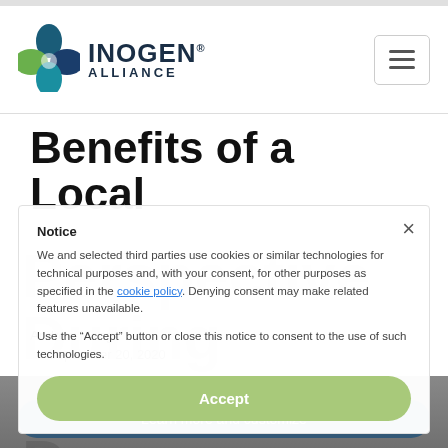[Figure (logo): Inogen Alliance logo with stylized leaf/cross icon in blue and green, with text INOGEN ALLIANCE]
Benefits of a Local Perspective During International Due Diligence
Notice
We and selected third parties use cookies or similar technologies for technical purposes and, with your consent, for other purposes as specified in the cookie policy. Denying consent may make related features unavailable.
Use the "Accept" button or close this notice to consent to the use of such technologies.
Andrew Mang
September 20, 2020
Accept
Learn more and customize